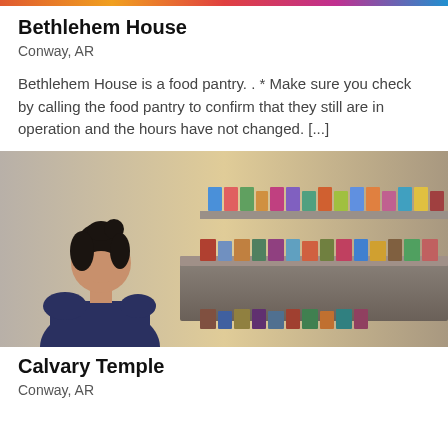Bethlehem House
Conway, AR
Bethlehem House is a food pantry. . * Make sure you check by calling the food pantry to confirm that they still are in operation and the hours have not changed. [...]
[Figure (photo): A woman with dark hair in a bun, wearing a dark top, standing in front of shelves stocked with canned goods and food items at a food pantry.]
Calvary Temple
Conway, AR